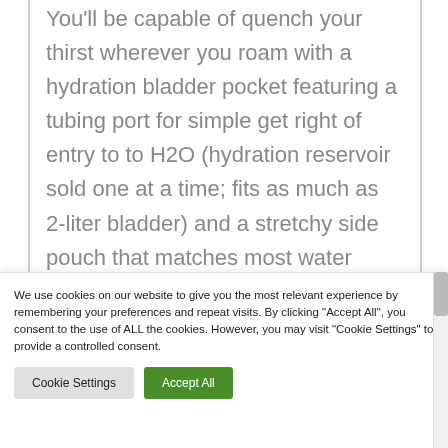You'll be capable of quench your thirst wherever you roam with a hydration bladder pocket featuring a tubing port for simple get right of entry to to H2O (hydration reservoir sold one at a time; fits as much as 2-liter bladder) and a stretchy side pouch that matches most water bottles (sold one at a time).
We use cookies on our website to give you the most relevant experience by remembering your preferences and repeat visits. By clicking "Accept All", you consent to the use of ALL the cookies. However, you may visit "Cookie Settings" to provide a controlled consent.